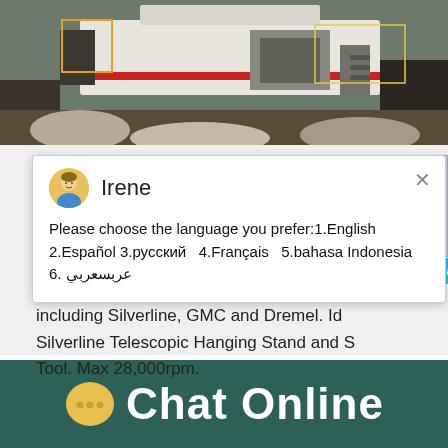[Figure (photo): Industrial machinery / crusher equipment photographed outdoors, white and red machine on rocky ground]
Please choose the language you prefer:1.English  2.Español  3.русский  4.Français  5.bahasa Indonesia   6. عربسعربي
confined spaces. Compatible with most ro... including Silverline, GMC and Dremel. Id... Silverline Telescopic Hanging Stand and S... Tool. Max 28,000rpm.
[Figure (screenshot): Chat widget with cone crusher image and blue badge showing number 1 and 'Click me to chat>>' button]
Chat Online